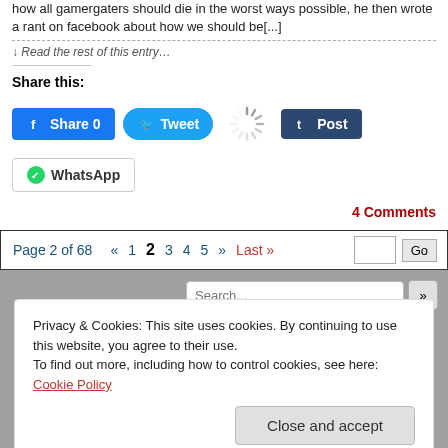how all gamergaters should die in the worst ways possible, he then wrote a rant on facebook about how we should be[...]
↓ Read the rest of this entry…
Share this:
[Figure (screenshot): Social share buttons: Facebook Share 0, Twitter Tweet, loading spinner, Tumblr Post, WhatsApp]
4 Comments
Page 2 of 68  «  1  2  3  4  5  »  Last »  [input] Go
[Figure (screenshot): Search bar with Search... placeholder and >> button]
[Figure (illustration): Anime girl character illustration with dark hair, wearing orange and brown clothing]
Privacy & Cookies: This site uses cookies. By continuing to use this website, you agree to their use.
To find out more, including how to control cookies, see here: Cookie Policy
Close and accept